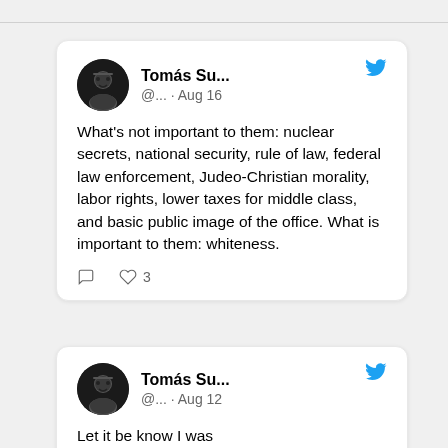[Figure (screenshot): Tweet from Tomás Su... posted Aug 16. Text: What's not important to them: nuclear secrets, national security, rule of law, federal law enforcement, Judeo-Christian morality, labor rights, lower taxes for middle class, and basic public image of the office. What is important to them: whiteness. 3 likes.]
[Figure (screenshot): Tweet from Tomás Su... posted Aug 12. Text begins: Let it be know I was...]